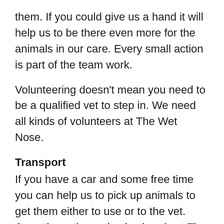them. If you could give us a hand it will help us to be there even more for the animals in our care. Every small action is part of the team work.
Volunteering doesn't mean you need to be a qualified vet to step in. We need all kinds of volunteers at The Wet Nose.
Transport
If you have a car and some free time you can help us to pick up animals to get them either to use or to the vet. Sometimes ther animals already at The Wet Nose need to be seen by the vet. It may simply be an errand that we need help with.
Dog walks
While the cats are usually laid back, the dogs do enjoy interacting with people and they love to get